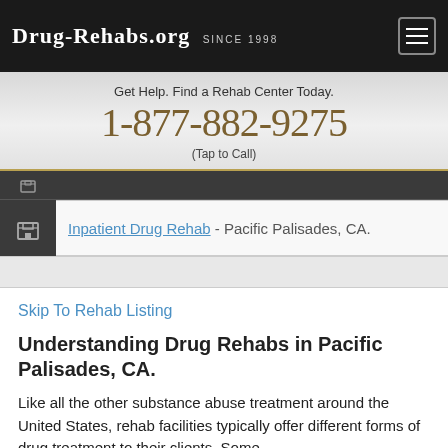Drug-Rehabs.org Since 1998
Get Help. Find a Rehab Center Today.
1-877-882-9275
(Tap to Call)
Inpatient Drug Rehab - Pacific Palisades, CA.
Skip To Rehab Listing
Understanding Drug Rehabs in Pacific Palisades, CA.
Like all the other substance abuse treatment around the United States, rehab facilities typically offer different forms of drug treatment to their clients. Some